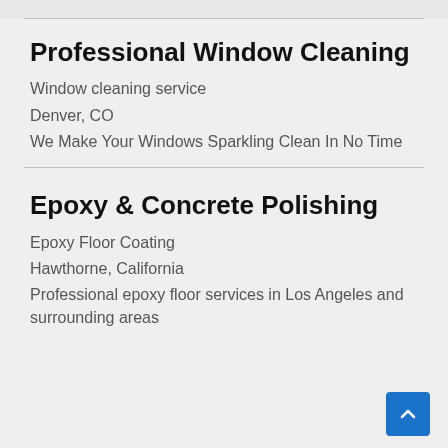Professional Window Cleaning
Window cleaning service
Denver, CO
We Make Your Windows Sparkling Clean In No Time
Epoxy & Concrete Polishing
Epoxy Floor Coating
Hawthorne, California
Professional epoxy floor services in Los Angeles and surrounding areas